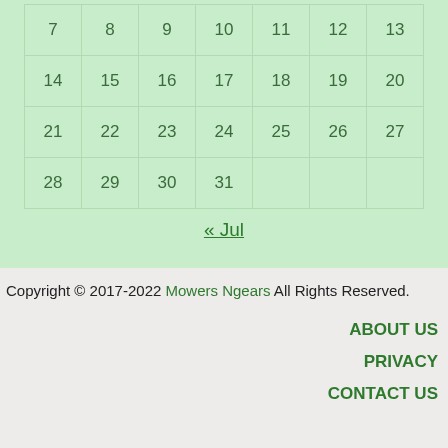| 7 | 8 | 9 | 10 | 11 | 12 | 13 |
| 14 | 15 | 16 | 17 | 18 | 19 | 20 |
| 21 | 22 | 23 | 24 | 25 | 26 | 27 |
| 28 | 29 | 30 | 31 |  |  |  |
« Jul
Copyright © 2017-2022 Mowers Ngears All Rights Reserved.
ABOUT US
PRIVACY
CONTACT US